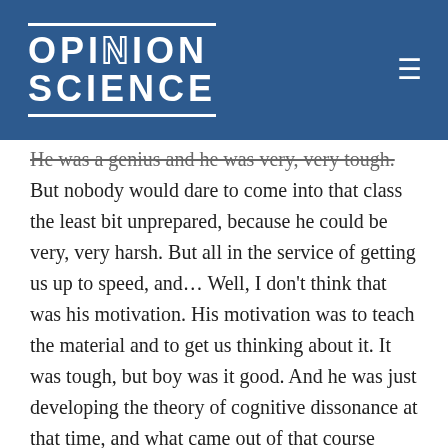OPINION SCIENCE
He was a genius and he was very, very tough. But nobody would dare to come into that class the least bit unprepared, because he could be very, very harsh. But all in the service of getting us up to speed, and… Well, I don't think that was his motivation. His motivation was to teach the material and to get us thinking about it. It was tough, but boy was it good. And he was just developing the theory of cognitive dissonance at that time, and what came out of that course were two experiments. One that Jud Mills and I designed on the severity of initiation, which was an idea that I had and I